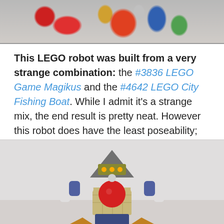[Figure (photo): Top portion of a LEGO robot built from colorful LEGO pieces including red, blue, and green bricks against a white background]
This LEGO robot was built from a very strange combination: the #3836 LEGO Game Magikus and the #4642 LEGO City Fishing Boat. While I admit it's a strange mix, the end result is pretty neat. However this robot does have the least poseability; only the arms can move, and also the head.
[Figure (photo): Front view of a LEGO robot with a grey triangular head with yellow display, large red round chest piece, white arm joints, blue lower body, and orange/yellow feet accessories, posed against a white background]